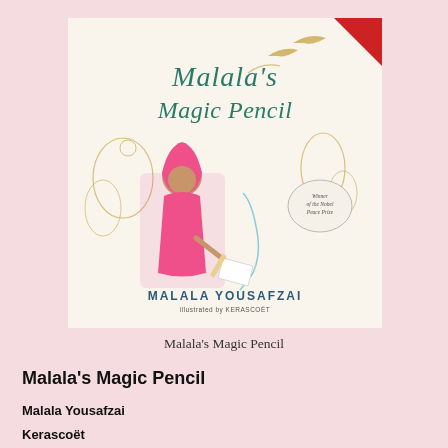[Figure (illustration): Book cover of 'Malala's Magic Pencil' by Malala Yousafzai, illustrated by Kerascoët. Cover shows a girl in pink hijab writing with a magic pencil, surrounded by golden floral and bird illustrations. Title is in teal script lettering. A red badge in top right corner. Bottom reads 'MALALA YOUSAFZAI illustrated by KERASCOËT'. A Nobel Peace Prize winner badge appears on the right side.]
Malala's Magic Pencil
Malala's Magic Pencil
Malala Yousafzai
Kerascoët